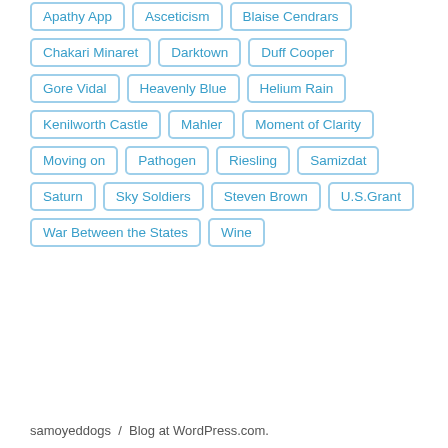Apathy App
Asceticism
Blaise Cendrars
Chakari Minaret
Darktown
Duff Cooper
Gore Vidal
Heavenly Blue
Helium Rain
Kenilworth Castle
Mahler
Moment of Clarity
Moving on
Pathogen
Riesling
Samizdat
Saturn
Sky Soldiers
Steven Brown
U.S.Grant
War Between the States
Wine
samoyeddogs / Blog at WordPress.com.